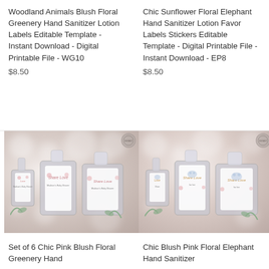Woodland Animals Blush Floral Greenery Hand Sanitizer Lotion Labels Editable Template - Instant Download - Digital Printable File - WG10
$8.50
Chic Sunflower Floral Elephant Hand Sanitizer Lotion Favor Labels Stickers Editable Template - Digital Printable File - Instant Download - EP8
$8.50
[Figure (photo): Photo of hand sanitizer bottles with pink blush floral greenery labels reading 'Share Love' and 'Madison's Baby Shower', arranged on a wooden surface with bokeh light background]
[Figure (photo): Photo of hand sanitizer bottles with chic blush pink floral elephant labels, arranged on a wooden surface with bokeh light background]
Set of 6 Chic Pink Blush Floral Greenery Hand
Chic Blush Pink Floral Elephant Hand Sanitizer